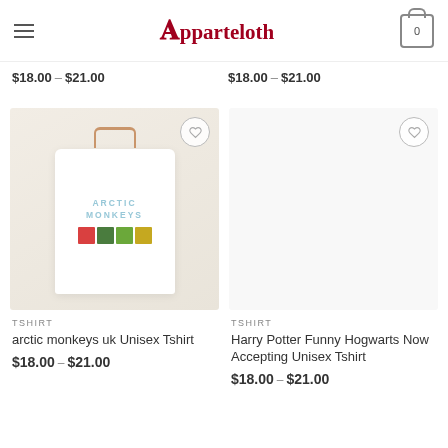Apparteloth — navigation header with hamburger menu and cart (0)
$18.00 – $21.00
$18.00 – $21.00
[Figure (photo): Arctic Monkeys UK Unisex Tshirt product photo: white t-shirt on hanger with Arctic Monkeys logo and album art squares]
TSHIRT
arctic monkeys uk Unisex Tshirt
$18.00 – $21.00
[Figure (photo): Harry Potter Funny Hogwarts Now Accepting Unisex Tshirt product placeholder image]
TSHIRT
Harry Potter Funny Hogwarts Now Accepting Unisex Tshirt
$18.00 – $21.00